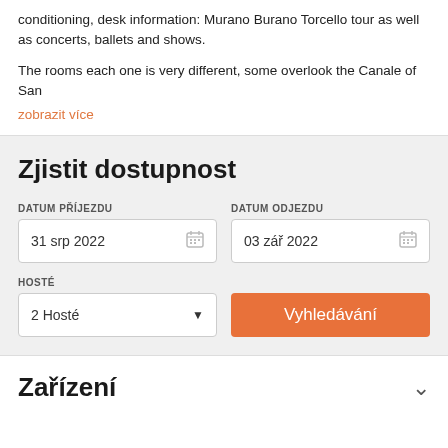conditioning, desk information: Murano Burano Torcello tour as well as concerts, ballets and shows.
The rooms each one is very different, some overlook the Canale of San
zobrazit více
Zjistit dostupnost
DATUM PŘÍJEZDU
31 srp 2022
DATUM ODJEZDU
03 září 2022
HOSTÉ
2 Hosté
Vyhledávání
Zařízení